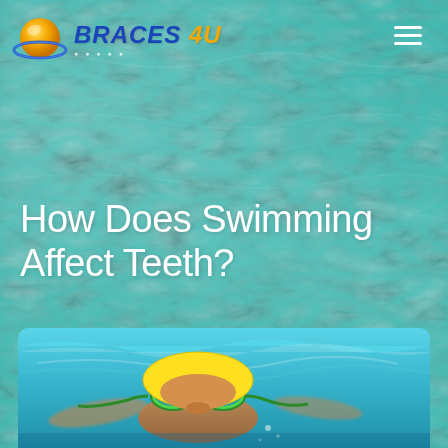[Figure (logo): Braces 4U logo with orange/yellow globe icon and blue italic text]
How Does Swimming Affect Teeth?
[Figure (photo): Underwater photo of a child swimming with green goggles and swim cap in a clear blue pool]